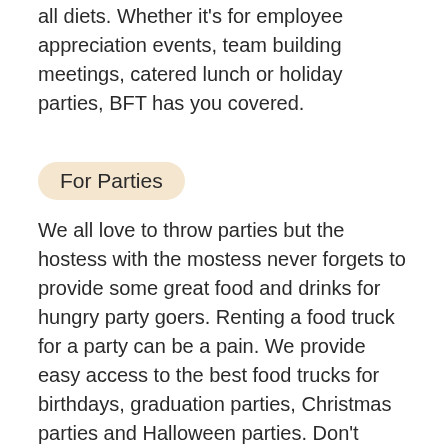all diets. Whether it's for employee appreciation events, team building meetings, catered lunch or holiday parties, BFT has you covered.
For Parties
We all love to throw parties but the hostess with the mostess never forgets to provide some great food and drinks for hungry party goers. Renting a food truck for a party can be a pain. We provide easy access to the best food trucks for birthdays, graduation parties, Christmas parties and Halloween parties. Don't forget about the cuisine specific parties and book a sausage food truck for Oktoberfest!
For Schools
Food trucks are a great way to supplement the on